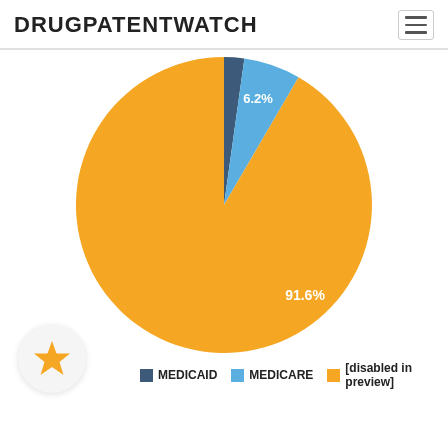DRUGPATENTWATCH
[Figure (pie-chart): ]
MEDICAID   MEDICARE   [disabled in preview]